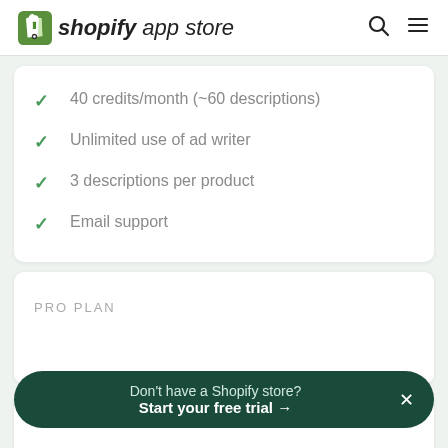shopify app store
40 credits/month (~60 descriptions)
Unlimited use of ad writer
3 descriptions per product
Email support
PRO PLAN
Don't have a Shopify store? Start your free trial →
200 credits/month (~400 descriptions)